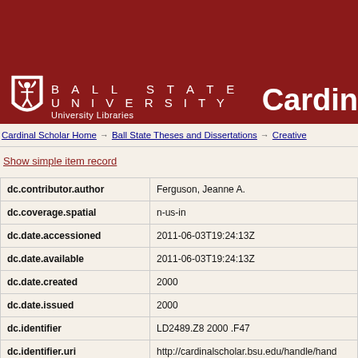Ball State University — University Libraries — Cardinal Scholar
Cardinal Scholar Home → Ball State Theses and Dissertations → Creative
Show simple item record
| Field | Value |
| --- | --- |
| dc.contributor.author | Ferguson, Jeanne A. |
| dc.coverage.spatial | n-us-in |
| dc.date.accessioned | 2011-06-03T19:24:13Z |
| dc.date.available | 2011-06-03T19:24:13Z |
| dc.date.created | 2000 |
| dc.date.issued | 2000 |
| dc.identifier | LD2489.Z8 2000 .F47 |
| dc.identifier.uri | http://cardinalscholar.bsu.edu/handle/handle |